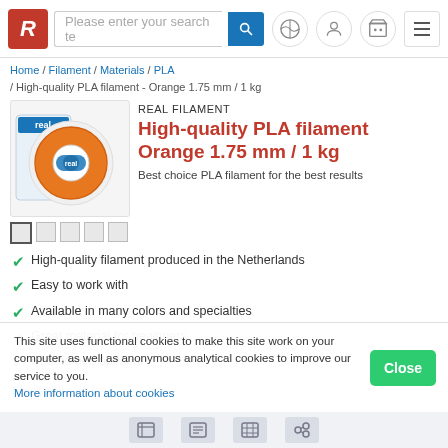Please enter your search te [search button] [globe icon] [user icon] [cart icon] [menu]
Home / Filament / Materials / PLA / High-quality PLA filament - Orange 1.75 mm / 1 kg
[Figure (photo): Product photo of orange PLA filament spool with REAL brand packaging box]
REAL FILAMENT
High-quality PLA filament Orange 1.75 mm / 1 kg
Best choice PLA filament for the best results
High-quality filament produced in the Netherlands
Easy to work with
Available in many colors and specialties
Great material for beginners
Heated bed optional
Stock - NL: 0
This site uses functional cookies to make this site work on your computer, as well as anonymous analytical cookies to improve our service to you. More information about cookies
[list icon] [card icon] [grid icon] [link icon]